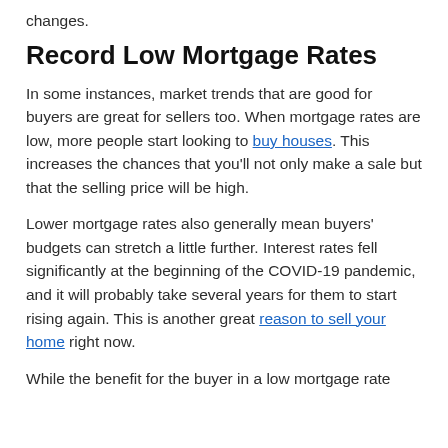changes.
Record Low Mortgage Rates
In some instances, market trends that are good for buyers are great for sellers too. When mortgage rates are low, more people start looking to buy houses. This increases the chances that you'll not only make a sale but that the selling price will be high.
Lower mortgage rates also generally mean buyers' budgets can stretch a little further. Interest rates fell significantly at the beginning of the COVID-19 pandemic, and it will probably take several years for them to start rising again. This is another great reason to sell your home right now.
While the benefit for the buyer in a low mortgage rate